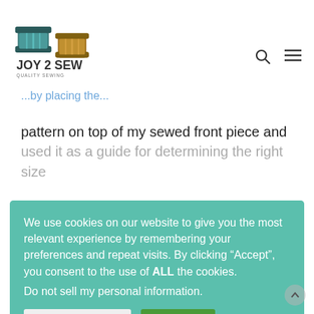JOY 2 SEW
pattern on top of my sewed front piece and used it as a guide for determining the right size
We use cookies on our website to give you the most relevant experience by remembering your preferences and repeat visits. By clicking “Accept”, you consent to the use of ALL the cookies.
Do not sell my personal information.
Cookie Settings
Accept
[Figure (photo): Pink fabric piece with 'cut 2' written on it with arrows indicating cutting direction]